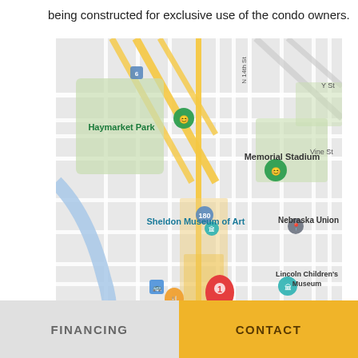being constructed for exclusive use of the condo owners.
[Figure (map): Google Maps screenshot showing downtown Lincoln, Nebraska area. Landmarks visible include Haymarket Park, Memorial Stadium, Sheldon Museum of Art, Nebraska Union, Lincoln Children's Museum, Lazlo's Brewery & Grill - Haymarket, The Green Gateau, Nebraska State Capitol, El Chaparro. A red map pin labeled '1' is located in the downtown area near Lincoln Downtown label. Streets visible include N 14th St, Y St, Vine St, L St, S 21st St, W O St. Highway markers for routes 6, 180, and 34 are shown.]
FINANCING
CONTACT